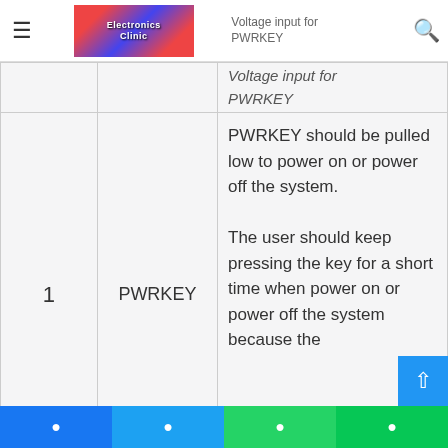Electronics Clinic — Voltage input for PWRKEY
|  | Pin Name | Description |
| --- | --- | --- |
|  |  | Voltage input for PWRKEY |
| 1 | PWRKEY | PWRKEY should be pulled low to power on or power off the system. The user should keep pressing the key for a short time when power on or power off the system because the |
Facebook | Twitter | WhatsApp | Line